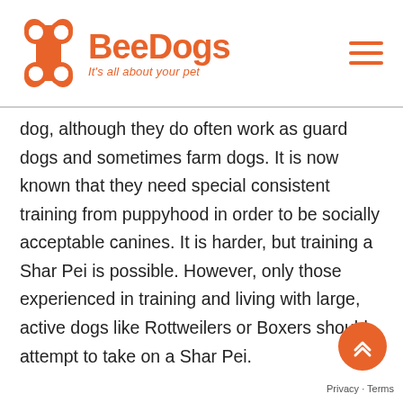[Figure (logo): BeeDogs logo with bone icon and tagline 'It's all about your pet']
dog, although they do often work as guard dogs and sometimes farm dogs. It is now known that they need special consistent training from puppyhood in order to be socially acceptable canines. It is harder, but training a Shar Pei is possible. However, only those experienced in training and living with large, active dogs like Rottweilers or Boxers should attempt to take on a Shar Pei.
[Figure (illustration): Orange circular scroll-to-top button with double upward chevron arrows]
Privacy · Terms